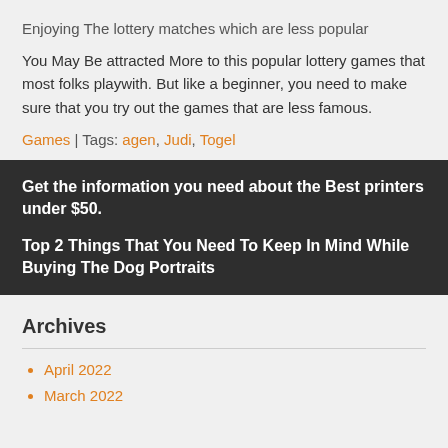Enjoying The lottery matches which are less popular
You May Be attracted More to this popular lottery games that most folks playwith. But like a beginner, you need to make sure that you try out the games that are less famous.
Games | Tags: agen, Judi, Togel
Get the information you need about the Best printers under $50.
Top 2 Things That You Need To Keep In Mind While Buying The Dog Portraits
Archives
April 2022
March 2022